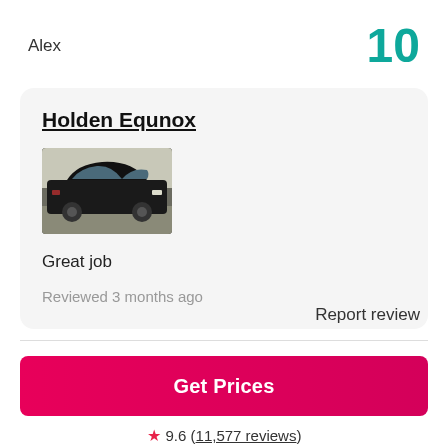Alex
10
Holden Equunox
[Figure (photo): Black SUV car photo thumbnail]
Great job
Reviewed 3 months ago
Report review
Get Prices
9.6 (11,577 reviews)